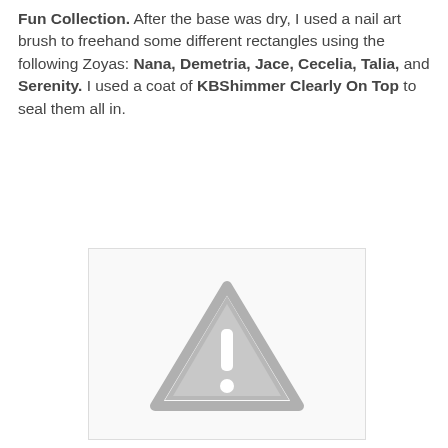Fun Collection. After the base was dry, I used a nail art brush to freehand some different rectangles using the following Zoyas: Nana, Demetria, Jace, Cecelia, Talia, and Serenity. I used a coat of KBShimmer Clearly On Top to seal them all in.
[Figure (other): Placeholder image with a grey warning/alert triangle icon containing an exclamation mark, indicating a missing or unavailable image.]